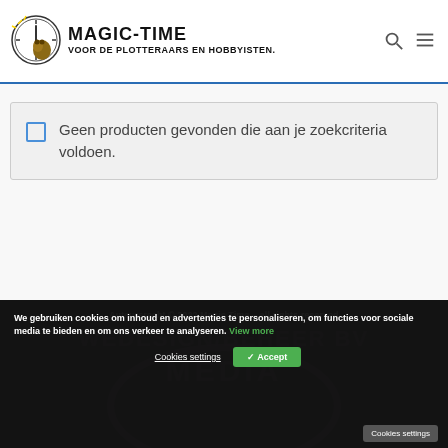[Figure (logo): Magic-Time logo with clock icon and text 'MAGIC-TIME VOOR DE PLOTTERAARS EN HOBBYISTEN.']
Geen producten gevonden die aan je zoekcriteria voldoen.
Auteursrecht © 2022 Magic Time – all rights reserved
We gebruiken cookies om inhoud en advertenties te personaliseren, om functies voor sociale media te bieden en om ons verkeer te analyseren. View more
Cookies settings  ✓ Accept  Cookies settings